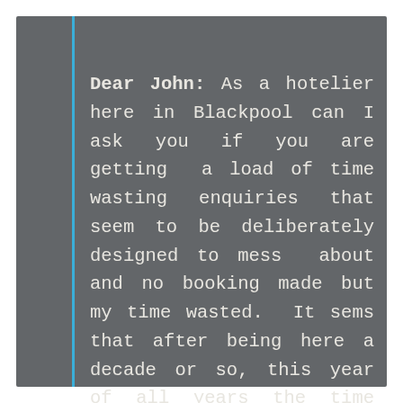Dear John: As a hotelier here in Blackpool can I ask you if you are getting a load of time wasting enquiries that seem to be deliberately designed to mess about and no booking made but my time wasted. It sems that after being here a decade or so, this year of all years the time wasters seem to be in an abundance compared to most years. (